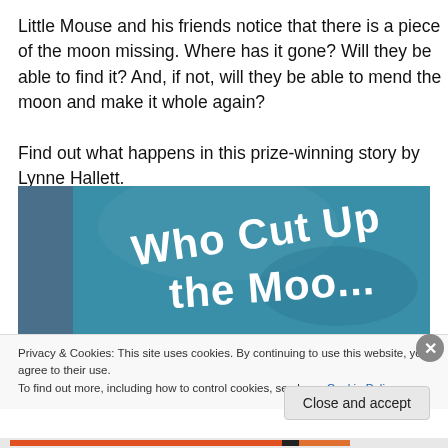Little Mouse and his friends notice that there is a piece of the moon missing. Where has it gone? Will they be able to find it? And, if not, will they be able to mend the moon and make it whole again?
Find out what happens in this prize-winning story by Lynne Hallett.
[Figure (photo): Book cover showing 'Who Cut Up the Moon' text in large white bold letters on a teal/blue textured background, with a narrow left panel in darker blue.]
Privacy & Cookies: This site uses cookies. By continuing to use this website, you agree to their use.
To find out more, including how to control cookies, see here: Cookie Policy
Close and accept